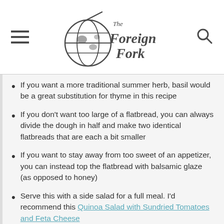[Figure (logo): The Foreign Fork logo with globe and fork icon]
If you want a more traditional summer herb, basil would be a great substitution for thyme in this recipe
If you don't want too large of a flatbread, you can always divide the dough in half and make two identical flatbreads that are each a bit smaller
If you want to stay away from too sweet of an appetizer, you can instead top the flatbread with balsamic glaze (as opposed to honey)
Serve this with a side salad for a full meal. I'd recommend this Quinoa Salad with Sundried Tomatoes and Feta Cheese